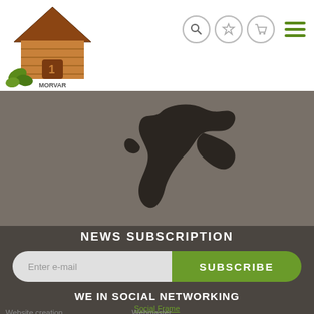[Figure (logo): Morvaro wooden house logo with green leaf decoration]
[Figure (illustration): Navigation icons: search (magnifying glass), star/favorites, shopping cart, hamburger menu in green]
[Figure (photo): Dark gray hero banner with black animal silhouette (appears to be a dog or similar animal)]
NEWS SUBSCRIPTION
[Figure (infographic): Email subscription bar with 'Enter e-mail' input field and green 'SUBSCRIBE' button]
WE IN SOCIAL NETWORKING
Social Frame
Website creation   Webmaster